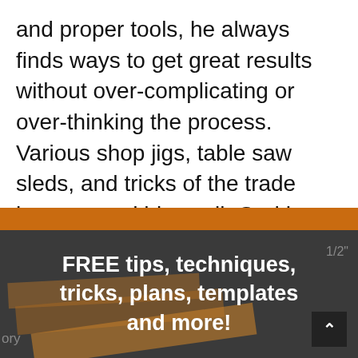and proper tools, he always finds ways to get great results without over-complicating or over-thinking the process. Various shop jigs, table saw sleds, and tricks of the trade have served him well. God has blessed him with a beautiful family, as well as a passion for teaching others about woodworking. You can read more about Adam here.
[Figure (infographic): Dark banner with orange top bar. White bold text reads: FREE tips, techniques, tricks, plans, templates and more! Background shows partial woodworking/wood plank imagery. An up-arrow button is visible in the bottom right.]